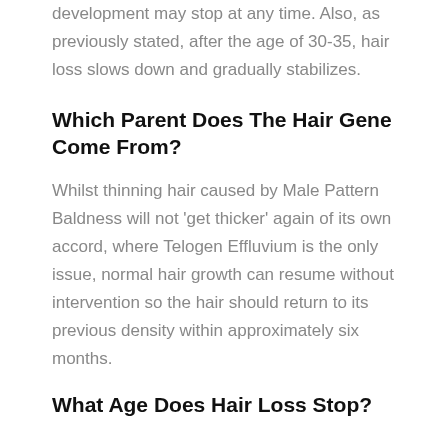development may stop at any time. Also, as previously stated, after the age of 30-35, hair loss slows down and gradually stabilizes.
Which Parent Does The Hair Gene Come From?
Whilst thinning hair caused by Male Pattern Baldness will not ‘get thicker’ again of its own accord, where Telogen Effluvium is the only issue, normal hair growth can resume without intervention so the hair should return to its previous density within approximately six months.
What Age Does Hair Loss Stop?